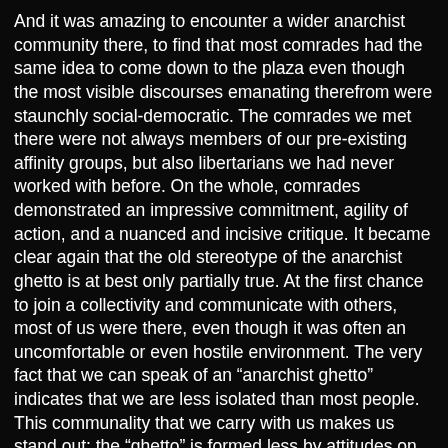And it was amazing to encounter a wider anarchist community there, to find that most comrades had the same idea to come down to the plaza even though the most visible discourses emanating therefrom were staunchly social-democratic. The comrades we met there were not always members of our pre-existing affinity groups, but also libertarians we had never worked with before. On the whole, comrades demonstrated an impressive commitment, agility of action, and a nuanced and incisive critique. It became clear again that the old stereotype of the anarchist ghetto is at best only partially true. At the first chance to join a collectivity and communicate with others, most of us were there, even though it was often an uncomfortable or even hostile environment. The very fact that we can speak of an “anarchist ghetto” indicates that we are less isolated than most people. This communality that we carry with us makes us stand out; the “ghetto” is formed less by attitudes on the interior and more by the imposition of a general social isolation on everybody else. In Barcelona, this has become truer in the last few years, now that many anarchists have distanced themselves from the tradition of squatting for the sake of squatting.
Not exactly on the turn of a dime, but within the space of a couple days, many dozens of us dropped our routines and